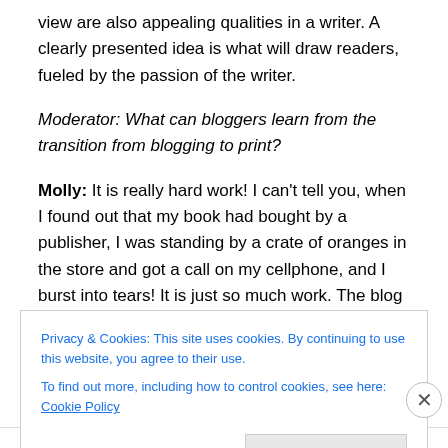view are also appealing qualities in a writer. A clearly presented idea is what will draw readers, fueled by the passion of the writer.
Moderator: What can bloggers learn from the transition from blogging to print?
Molly: It is really hard work! I can't tell you, when I found out that my book had bought by a publisher, I was standing by a crate of oranges in the store and got a call on my cellphone, and I burst into tears! It is just so much work. The blog was an amazing companion for me, a
Privacy & Cookies: This site uses cookies. By continuing to use this website, you agree to their use.
To find out more, including how to control cookies, see here: Cookie Policy
Close and accept
Advertisements